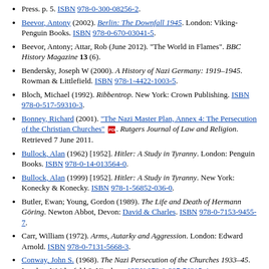Press. p. 5. ISBN 978-0-300-08256-2.
Beevor, Antony (2002). Berlin: The Downfall 1945. London: Viking-Penguin Books. ISBN 978-0-670-03041-5.
Beevor, Antony; Attar, Rob (June 2012). "The World in Flames". BBC History Magazine 13 (6).
Bendersky, Joseph W (2000). A History of Nazi Germany: 1919–1945. Rowman & Littlefield. ISBN 978-1-4422-1003-5.
Bloch, Michael (1992). Ribbentrop. New York: Crown Publishing. ISBN 978-0-517-59310-3.
Bonney, Richard (2001). "The Nazi Master Plan, Annex 4: The Persecution of the Christian Churches" [PDF]. Rutgers Journal of Law and Religion. Retrieved 7 June 2011.
Bullock, Alan (1962) [1952]. Hitler: A Study in Tyranny. London: Penguin Books. ISBN 978-0-14-013564-0.
Bullock, Alan (1999) [1952]. Hitler: A Study in Tyranny. New York: Konecky & Konecky. ISBN 978-1-56852-036-0.
Butler, Ewan; Young, Gordon (1989). The Life and Death of Hermann Göring. Newton Abbot, Devon: David & Charles. ISBN 978-0-7153-9455-7.
Carr, William (1972). Arms, Autarky and Aggression. London: Edward Arnold. ISBN 978-0-7131-5668-3.
Conway, John S. (1968). The Nazi Persecution of the Churches 1933–45. London: Weidenfeld & Nicolson. ISBN 978-0-297-76315-4.
Crandell, William F. (1987). "Eisenhower the Strategist: The Battle of the Bulge and the Censure of Joe McCarthy". Presidential Studies Quarterly 17 (3): 487–501. JSTOR 27550441.